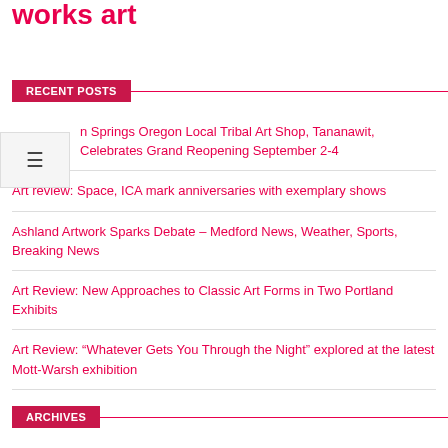works art
RECENT POSTS
n Springs Oregon Local Tribal Art Shop, Tananawit, Celebrates Grand Reopening September 2-4
Art review: Space, ICA mark anniversaries with exemplary shows
Ashland Artwork Sparks Debate – Medford News, Weather, Sports, Breaking News
Art Review: New Approaches to Classic Art Forms in Two Portland Exhibits
Art Review: “Whatever Gets You Through the Night” explored at the latest Mott-Warsh exhibition
ARCHIVES